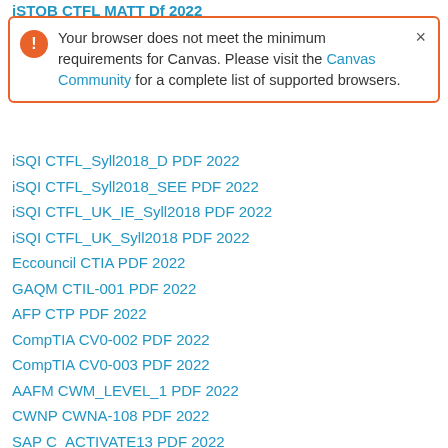iSTQB CTFL MATT Df 2022
Your browser does not meet the minimum requirements for Canvas. Please visit the Canvas Community for a complete list of supported browsers.
iSQI CTFL_Syll2018_D PDF 2022
iSQI CTFL_Syll2018_SEE PDF 2022
iSQI CTFL_UK_IE_Syll2018 PDF 2022
iSQI CTFL_UK_Syll2018 PDF 2022
Eccouncil CTIA PDF 2022
GAQM CTIL-001 PDF 2022
AFP CTP PDF 2022
CompTIA CV0-002 PDF 2022
CompTIA CV0-003 PDF 2022
AAFM CWM_LEVEL_1 PDF 2022
CWNP CWNA-108 PDF 2022
SAP C_ACTIVATE13 PDF 2022
SAP C_ARCON_2108 PDF 2022
SAP C_ARP2P_2108 PDF 2022